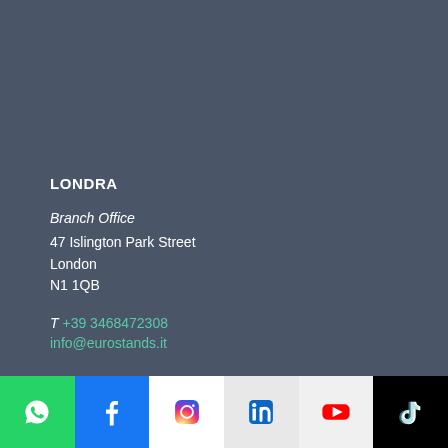LONDRA
Branch Office
47 Islington Park Street
London
N1 1QB
T +39 3468472308
info@eurostands.it
[Figure (infographic): Social media icons bar at the bottom: WhatsApp (green), Facebook (blue), Instagram (white background with gradient icon), LinkedIn (light background), YouTube (light background), TikTok (black background)]